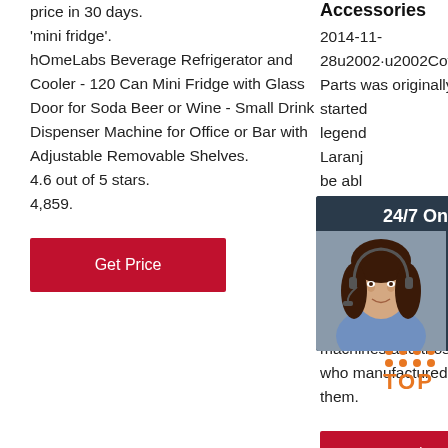price in 30 days.
'mini fridge'.
hOmeLabs Beverage Refrigerator and Cooler - 120 Can Mini Fridge with Glass Door for Soda Beer or Wine - Small Drink Dispenser Machine for Office or Bar with Adjustable Removable Shelves.
4.6 out of 5 stars.
4,859.
[Figure (other): Red 'Get Price' button on left column]
Accessories
2014-11-28u2002·u2002Coffee Parts was originally started legend Laranj be able rebuild 1961 B coffee There discon consumers of coffee machines and those who manufactured them.
[Figure (other): 24/7 Online chat widget with woman in headset photo, 'Click here for free chat!' text, and orange QUOTATION button]
[Figure (logo): Orange TOP logo with orange dots above]
[Figure (other): Red 'Get Price' button on right column]